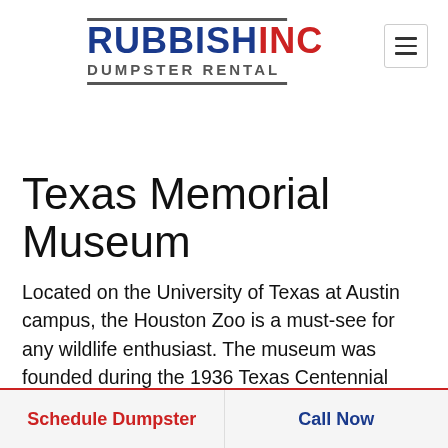[Figure (logo): Rubbish Inc Dumpster Rental logo with blue 'RUBBISH', red 'INC', gray 'DUMPSTER RENTAL' subtitle, framed by top and bottom horizontal lines]
Texas Memorial Museum
Located on the University of Texas at Austin campus, the Houston Zoo is a must-see for any wildlife enthusiast. The museum was founded during the 1936 Texas Centennial Exposition and focuses on natural history, including paleontology, geology, biology, herpetology, ichthyology, entomology, and more. This is the perfect
Schedule Dumpster | Call Now